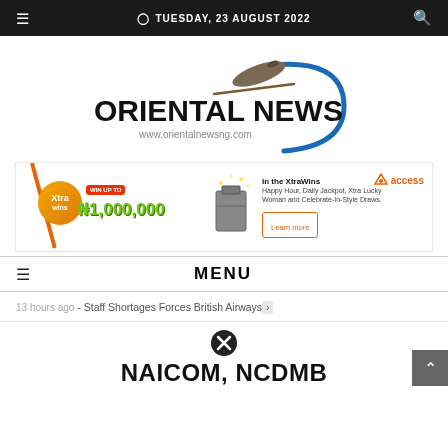☰   ◷ TUESDAY, 23 AUGUST 2022   🔍
[Figure (logo): Oriental News logo with blue swoosh arc and pen/pencil graphic, text 'ORIENTAL NEWS' in bold black, subtitle 'www.orientalnewsng.com']
[Figure (infographic): Access Bank XtraWins advertisement banner showing 'WIN UP TO ₦1,000,000' with briefcase of money, Xtra logo, and 'Learn more' button]
☰ MENU
13 hours ago - Staff Shortages Forces British Airways›
NAICOM, NCDMB